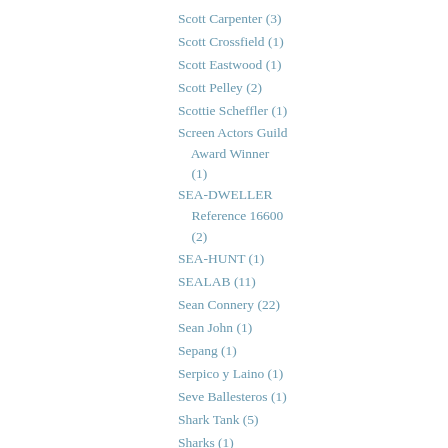Scott Carpenter (3)
Scott Crossfield (1)
Scott Eastwood (1)
Scott Pelley (2)
Scottie Scheffler (1)
Screen Actors Guild Award Winner (1)
SEA-DWELLER Reference 16600 (2)
SEA-HUNT (1)
SEALAB (11)
Sean Connery (22)
Sean John (1)
Sepang (1)
Serpico y Laino (1)
Seve Ballesteros (1)
Shark Tank (5)
Sharks (1)